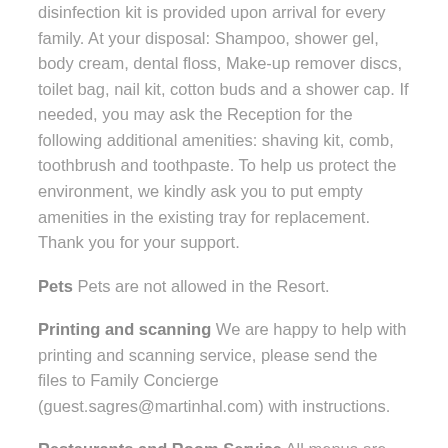disinfection kit is provided upon arrival for every family. At your disposal: Shampoo, shower gel, body cream, dental floss, Make-up remover discs, toilet bag, nail kit, cotton buds and a shower cap. If needed, you may ask the Reception for the following additional amenities: shaving kit, comb, toothbrush and toothpaste. To help us protect the environment, we kindly ask you to put empty amenities in the existing tray for replacement. Thank you for your support.
Pets Pets are not allowed in the Resort.
Printing and scanning We are happy to help with printing and scanning service, please send the files to Family Concierge (guest.sagres@martinhal.com) with instructions.
Restaurants and Room Service All menus are available in www.MyMartinhal.com and served as take-away or in room delivery. (Charges apply). For service in restaurants